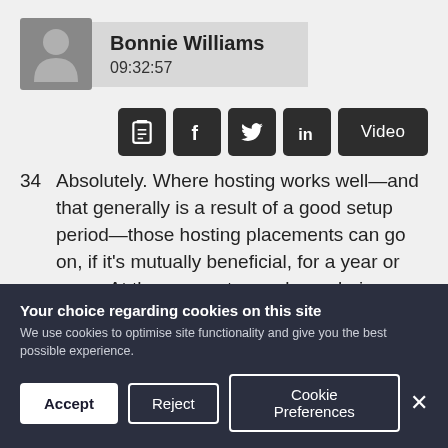[Figure (other): User profile card with avatar silhouette icon, name 'Bonnie Williams', and timestamp '09:32:57']
[Figure (infographic): Row of dark social/action icon buttons: clipboard, Facebook (f), Twitter bird, LinkedIn (in), and Video button]
34  Absolutely. Where hosting works well—and that generally is a result of a good setup period—those hosting placements can go on, if it's mutually beneficial, for a year or more. At the moment, people are being asked for a six-month offering. However, the sustainability of it long term I think will be a challenge, because we will see a
Your choice regarding cookies on this site
We use cookies to optimise site functionality and give you the best possible experience.
Accept  Reject  Cookie Preferences